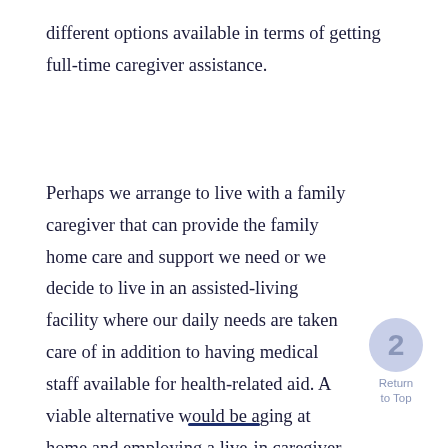different options available in terms of getting full-time caregiver assistance.
Perhaps we arrange to live with a family caregiver that can provide the family home care and support we need or we decide to live in an assisted-living facility where our daily needs are taken care of in addition to having medical staff available for health-related aid. A viable alternative would be aging at home and employing a live-in caregiver to support us.
—